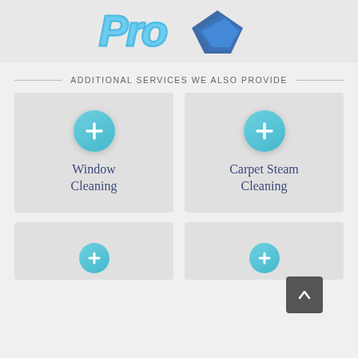[Figure (logo): Partial cleaning company logo with blue handwritten-style text and blue diamond/shield icon]
ADDITIONAL SERVICES WE ALSO PROVIDE
[Figure (infographic): Service card: teal plus circle icon above text 'Window Cleaning' on grey background]
[Figure (infographic): Service card: teal plus circle icon above text 'Carpet Steam Cleaning' on grey background]
[Figure (infographic): Partial service card at bottom left on grey background with teal plus circle visible]
[Figure (infographic): Partial service card at bottom right on grey background with teal plus circle visible]